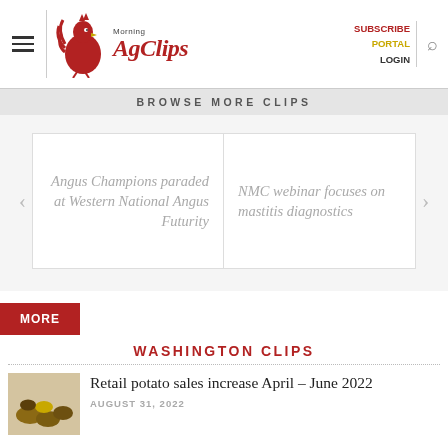Morning AgClips — SUBSCRIBE PORTAL LOGIN
BROWSE MORE CLIPS
Angus Champions paraded at Western National Angus Futurity
NMC webinar focuses on mastitis diagnostics
MORE
WASHINGTON CLIPS
Retail potato sales increase April – June 2022
AUGUST 31, 2022